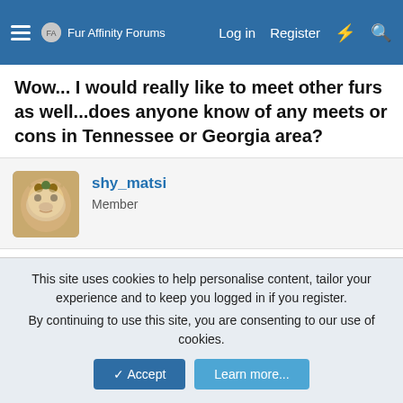Fur Affinity Forums — Log in  Register
Wow... I would really like to meet other furs as well...does anyone know of any meets or cons in Tennessee or Georgia area?
shy_matsi
Member
Mar 6, 2008  #18
Luna_Redmoon said:
Wow... I would really like to meet other furs as well...does anyone know of any meets or cons in Tennessee or Georgia area?
This site uses cookies to help personalise content, tailor your experience and to keep you logged in if you register.
By continuing to use this site, you are consenting to our use of cookies.